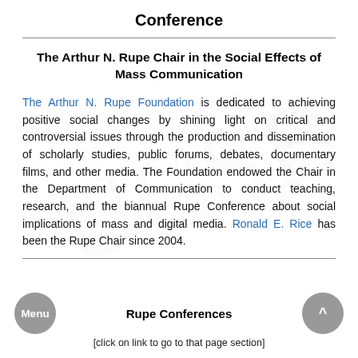Conference
The Arthur N. Rupe Chair in the Social Effects of Mass Communication
The Arthur N. Rupe Foundation is dedicated to achieving positive social changes by shining light on critical and controversial issues through the production and dissemination of scholarly studies, public forums, debates, documentary films, and other media. The Foundation endowed the Chair in the Department of Communication to conduct teaching, research, and the biannual Rupe Conference about social implications of mass and digital media. Ronald E. Rice has been the Rupe Chair since 2004.
Rupe Conferences
[click on link to go to that page section]